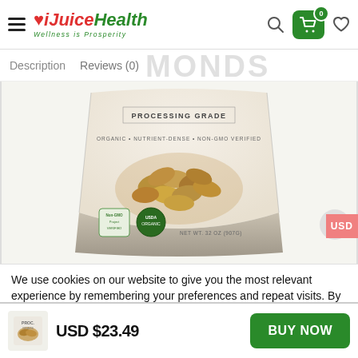[Figure (screenshot): iJuice Health website header with hamburger menu, logo, search icon, cart button showing 0 items, and heart/wishlist icon]
Description   Reviews (0)   MONDS
[Figure (photo): Bag of almonds labeled PROCESSING GRADE, ORGANIC, NUTRIENT-DENSE, NON-GMO VERIFIED, NET WT. 32 OZ (907G), with USDA Organic and Non-GMO verified certifications]
We use cookies on our website to give you the most relevant experience by remembering your preferences and repeat visits. By clicking “Accept All”, you consent to the use of ALL the cookies. However, you may visit “Cookie Settings” to provide a controlled consent.
USD $23.49
BUY NOW